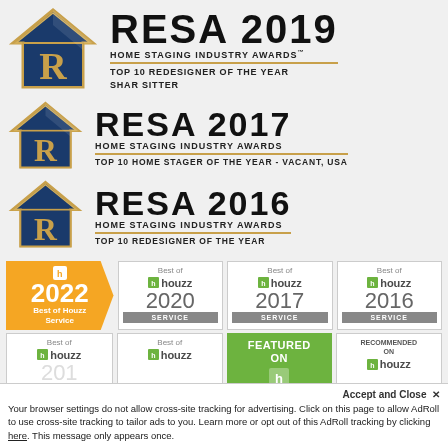[Figure (logo): RESA 2019 Home Staging Industry Awards - Top 10 Redesigner of the Year Shar Sitter logo with house icon]
[Figure (logo): RESA 2017 Home Staging Industry Awards - Top 10 Home Stager of the Year - Vacant, USA logo with house icon]
[Figure (logo): RESA 2016 Home Staging Industry Awards - Top 10 Redesigner of the Year logo with house icon]
[Figure (logo): Houzz award badges: Best of Houzz 2022 Service, Best of Houzz 2020 Service, Best of Houzz 2017 Service, Best of Houzz 2016 Service]
[Figure (logo): Second row of Houzz badges: Best of Houzz 2015(?), Best of Houzz, Featured On Houzz, Recommended on Houzz]
Accept and Close ×
Your browser settings do not allow cross-site tracking for advertising. Click on this page to allow AdRoll to use cross-site tracking to tailor ads to you. Learn more or opt out of this AdRoll tracking by clicking here. This message only appears once.